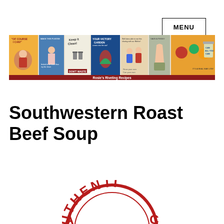MENU
[Figure (illustration): Banner image showing a collage of WWII-era home canning and victory garden propaganda posters with text 'Rosie's Riveting Recipes' on a dark red band at the bottom]
Southwestern Roast Beef Soup
[Figure (logo): Partial circular red stamp/seal reading 'AUTHENTIC']